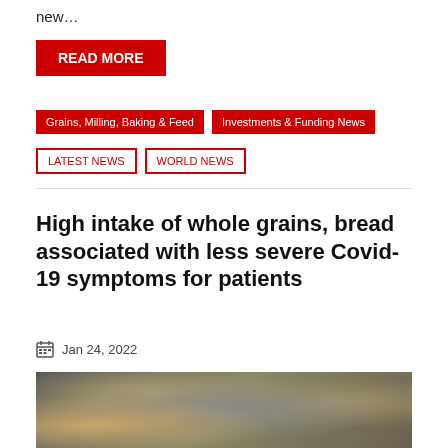new…
READ MORE
Grains, Milling, Baking & Feed
Investments & Funding News
LATEST NEWS
WORLD NEWS
High intake of whole grains, bread associated with less severe Covid-19 symptoms for patients
Jan 24, 2022
[Figure (photo): Overhead view of various whole grains, bread, pasta, and seeds arranged in bowls and heart-shaped containers on a dark surface, with wheat stalks.]